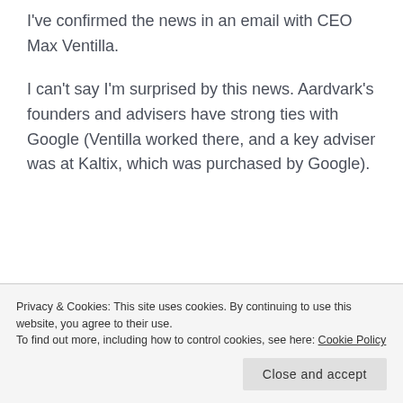I've confirmed the news in an email with CEO Max Ventilla.
I can't say I'm surprised by this news. Aardvark's founders and advisers have strong ties with Google (Ventilla worked there, and a key adviser was at Kaltix, which was purchased by Google).
Privacy & Cookies: This site uses cookies. By continuing to use this website, you agree to their use.
To find out more, including how to control cookies, see here: Cookie Policy